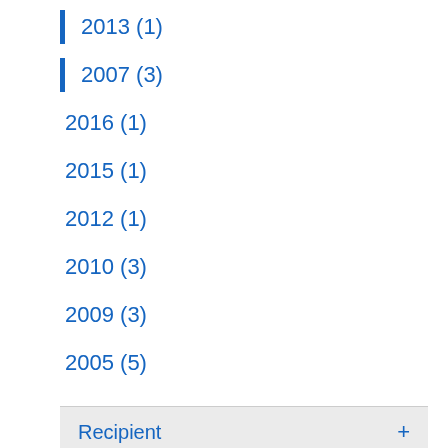2013 (1)
2007 (3)
2016 (1)
2015 (1)
2012 (1)
2010 (3)
2009 (3)
2005 (5)
Recipient +
Competition +
Status -
Closed (4)